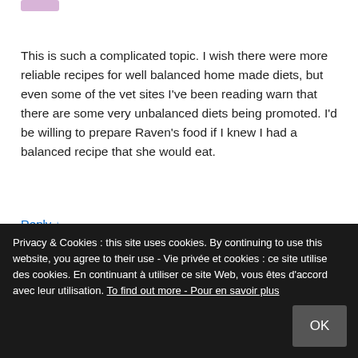[Figure (illustration): Small avatar/username image at top left, pink/purple rectangle]
This is such a complicated topic. I wish there were more reliable recipes for well balanced home made diets, but even some of the vet sites I've been reading warn that there are some very unbalanced diets being promoted. I'd be willing to prepare Raven's food if I knew I had a balanced recipe that she would eat.
Reply ↓
[Figure (illustration): Small avatar/username image, gray rectangle]
Privacy & Cookies : this site uses cookies. By continuing to use this website, you agree to their use - Vie privée et cookies : ce site utilise des cookies. En continuant à utiliser ce site Web, vous êtes d'accord avec leur utilisation. To find out more - Pour en savoir plus
OK